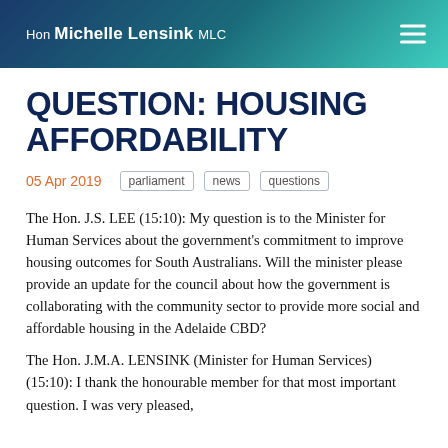Hon Michelle Lensink MLC
QUESTION: HOUSING AFFORDABILITY
05 Apr 2019   parliament   news   questions
The Hon. J.S. LEE (15:10): My question is to the Minister for Human Services about the government's commitment to improve housing outcomes for South Australians. Will the minister please provide an update for the council about how the government is collaborating with the community sector to provide more social and affordable housing in the Adelaide CBD?
The Hon. J.M.A. LENSINK (Minister for Human Services) (15:10): I thank the honourable member for that most important question. I was very pleased,